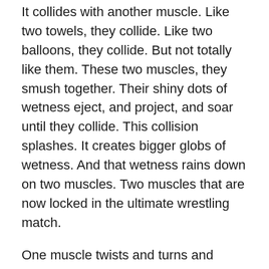It collides with another muscle.  Like two towels, they collide.  Like two balloons, they collide.  But not totally like them.  These two muscles, they smush together.  Their shiny dots of wetness eject, and project, and soar until they collide.  This collision splashes.  It creates bigger globs of wetness.  And that wetness rains down on two muscles.  Two muscles that are now locked in the ultimate wrestling match.
One muscle twists and turns and wraps and crawls and drags across the other, as the other does the same thing, but delayed by one second, so they form a twisty thing.
Like they both got an A+ in gymnastics, these muscles unwind and perform the ultimate moves.